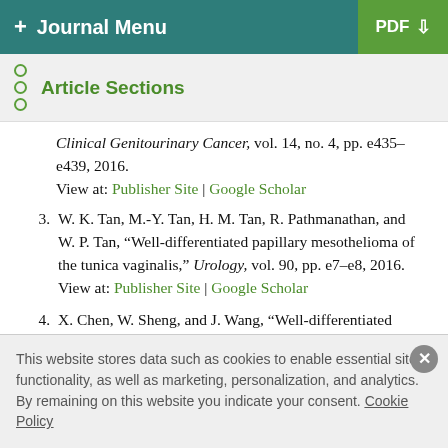+ Journal Menu   PDF ↓
Article Sections
Clinical Genitourinary Cancer, vol. 14, no. 4, pp. e435–e439, 2016.
View at: Publisher Site | Google Scholar
3. W. K. Tan, M.-Y. Tan, H. M. Tan, R. Pathmanathan, and W. P. Tan, "Well-differentiated papillary mesothelioma of the tunica vaginalis," Urology, vol. 90, pp. e7–e8, 2016.
View at: Publisher Site | Google Scholar
4. X. Chen, W. Sheng, and J. Wang, "Well-differentiated
This website stores data such as cookies to enable essential site functionality, as well as marketing, personalization, and analytics. By remaining on this website you indicate your consent. Cookie Policy